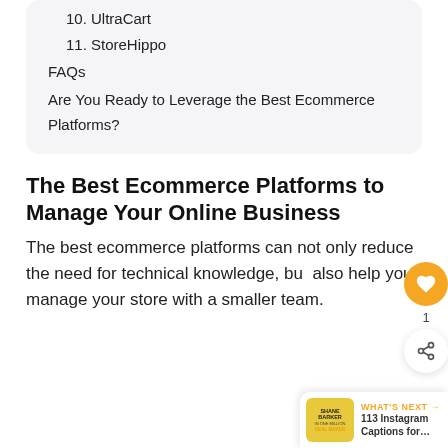10. UltraCart
11. StoreHippo
FAQs
Are You Ready to Leverage the Best Ecommerce Platforms?
The Best Ecommerce Platforms to Manage Your Online Business
The best ecommerce platforms can not only reduce the need for technical knowledge, but also help you manage your store with a smaller team.